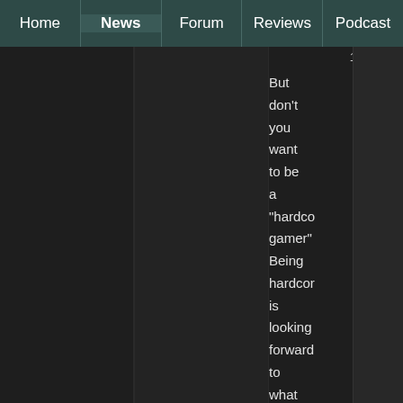Home | News | Forum | Reviews | Podcast
10:41UTC
But don't you want to be a "hardcore gamer" Being hardcore is looking forward to what is most adverti...